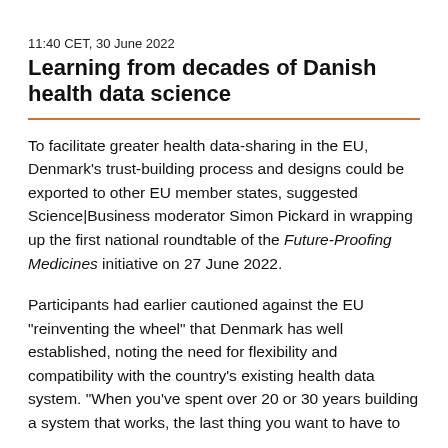11:40 CET, 30 June 2022
Learning from decades of Danish health data science
To facilitate greater health data-sharing in the EU, Denmark’s trust-building process and designs could be exported to other EU member states, suggested Science|Business moderator Simon Pickard in wrapping up the first national roundtable of the Future-Proofing Medicines initiative on 27 June 2022.
Participants had earlier cautioned against the EU “reinventing the wheel” that Denmark has well established, noting the need for flexibility and compatibility with the country’s existing health data system. “When you’ve spent over 20 or 30 years building a system that works, the last thing you want to have to